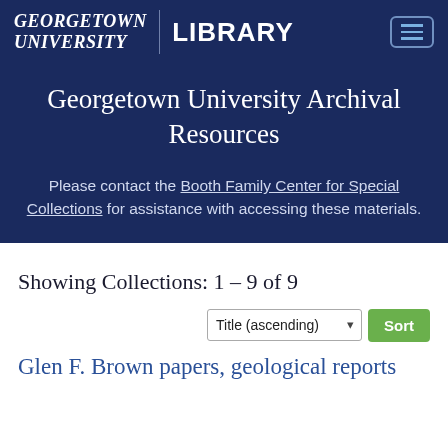GEORGETOWN UNIVERSITY | LIBRARY
Georgetown University Archival Resources
Please contact the Booth Family Center for Special Collections for assistance with accessing these materials.
Showing Collections: 1 - 9 of 9
Title (ascending) Sort
Glen F. Brown papers, geological reports